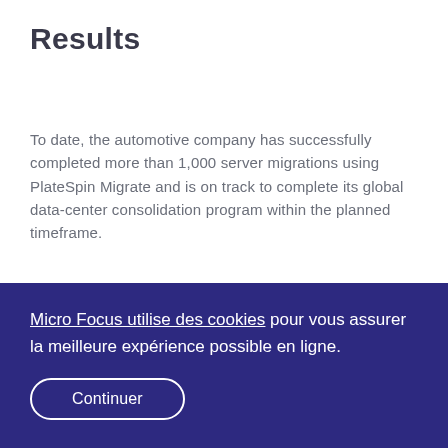Results
To date, the automotive company has successfully completed more than 1,000 server migrations using PlateSpin Migrate and is on track to complete its global data-center consolidation program within the planned timeframe.
The solution has helped the company to significantly reduce potential disruption during migration.
The spokesperson explained: “The staged migration capability of PlateSpin Migrate enabled us to minimize disruption to the
Micro Focus utilise des cookies pour vous assurer la meilleure expérience possible en ligne. Continuer